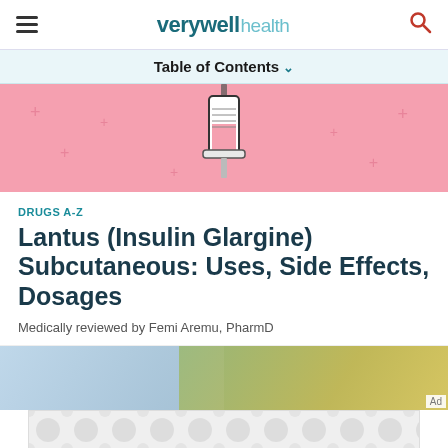verywell health
Table of Contents ∨
[Figure (illustration): Pink background hero image with an illustration of a syringe/insulin injection device and decorative plus signs]
DRUGS A-Z
Lantus (Insulin Glargine) Subcutaneous: Uses, Side Effects, Dosages
Medically reviewed by Femi Aremu, PharmD
[Figure (photo): Partial photo of a person, partially visible at bottom of page]
[Figure (other): Advertisement banner with grey circular pattern design]